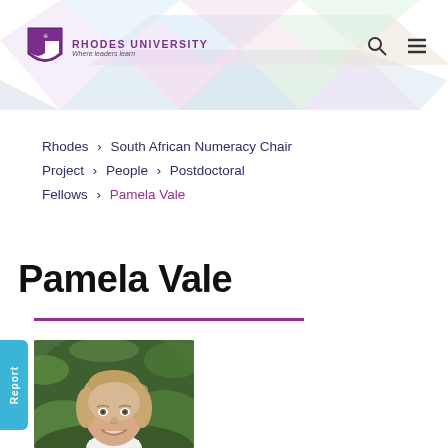Rhodes University – Where leaders learn
Rhodes > South African Numeracy Chair Project > People > Postdoctoral Fellows > Pamela Vale
Pamela Vale
[Figure (photo): Portrait photo of Pamela Vale, a woman with light brown hair pulled back, smiling, with green foliage in the background]